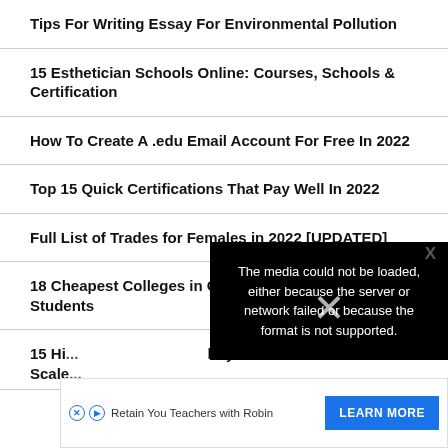Tips For Writing Essay For Environmental Pollution
15 Esthetician Schools Online: Courses, Schools & Certification
How To Create A .edu Email Account For Free In 2022
Top 15 Quick Certifications That Pay Well In 2022
Full List of Trades for Females in 2022 [UPDATED]
18 Cheapest Colleges in Canada for International Students
15 Hi... ...lary Scale...
[Figure (other): Video media error overlay: 'The media could not be loaded, either because the server or network failed or because the format is not supported.' with X close button]
[Figure (other): Advertisement banner: 'Retain You Teachers with Robin' with LEARN MORE button and ad icons]